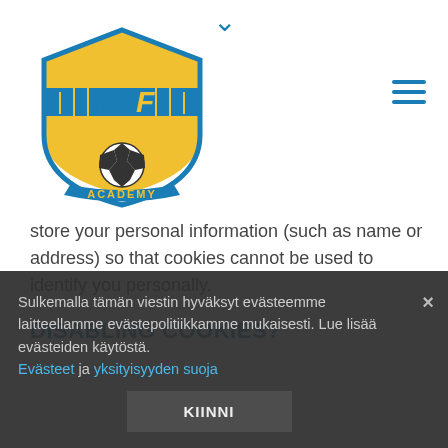NF Academy logo and navigation
store your personal information (such as name or address) so that cookies cannot be used to identify you personally.
DISABLING COOKIES?
If you do not want to accept cookies on your computer, disable them or remove them from your browser data history in your browser settings. You can also do this by finding the browser settings for usage settings (e.g. for Internet Explorer, Chrome, Firefox and Safari, etc.). However, please note that deleting all of your cookies will result in some features on our site
Sulkemalla tämän viestin hyväksyt evästeemme laitteellamme evästepolitiikkamme mukaisesti. Lue lisää evästeiden käytöstä. Evästeet ja yksityisyyden suoja
KIINNI